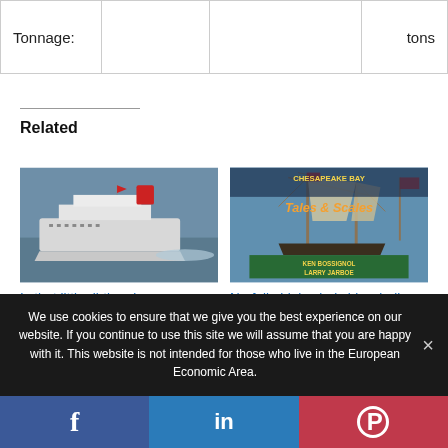| Tonnage: |  |  | tons |
Related
[Figure (photo): Cruise ship on open water]
Is that little dirtbag in your basement up to no good again? Coast Guard: some
[Figure (photo): Book cover: Chesapeake Bay Tales & Scales by Ken Bossignol and Larry Jarboe]
Norfolk: high winds blew bulk coal carrier ashore
April 18, 2014
We use cookies to ensure that we give you the best experience on our website. If you continue to use this site we will assume that you are happy with it. This website is not intended for those who live in the European Economic Area.